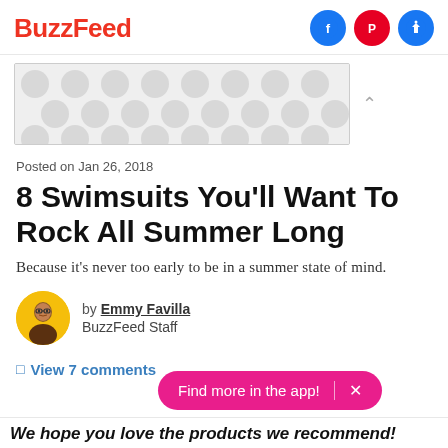BuzzFeed
[Figure (other): Advertisement banner with decorative dot pattern background]
Posted on Jan 26, 2018
8 Swimsuits You'll Want To Rock All Summer Long
Because it's never too early to be in a summer state of mind.
by Emmy Favilla
BuzzFeed Staff
View 7 comments
Find more in the app!
We hope you love the products we recommend!